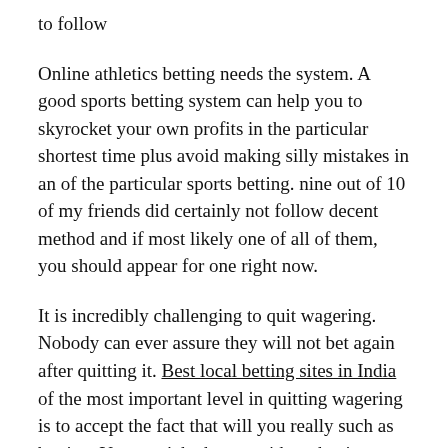to follow
Online athletics betting needs the system. A good sports betting system can help you to skyrocket your own profits in the particular shortest time plus avoid making silly mistakes in an of the particular sports betting. nine out of 10 of my friends did certainly not follow decent method and if most likely one of all of them, you should appear for one right now.
It is incredibly challenging to quit wagering. Nobody can ever assure they will not bet again after quitting it. Best local betting sites in India of the most important level in quitting wagering is to accept the fact that will you really such as betting. You won't be happy without having betting and likely to only feel unfortunate after quitting that. If this is definitely therefore , why help make your life so hard when